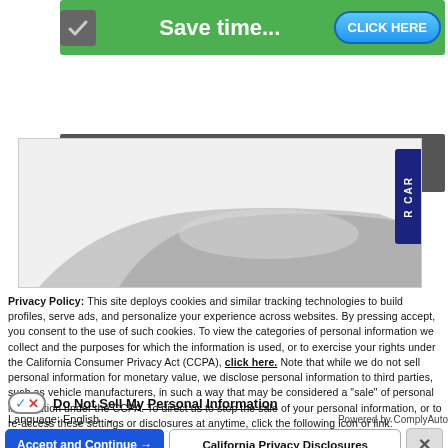[Figure (screenshot): Green banner with checkmark icon and 'Save time...' text and 'CLICK HERE' blue button]
[Figure (screenshot): Dark gray 'Value Your Trade' button/banner]
[Figure (photo): Partial car image showing roofline against white background, with blue vertical 'R CAR' tab on right side]
Privacy Policy: This site deploys cookies and similar tracking technologies to build profiles, serve ads, and personalize your experience across websites. By pressing accept, you consent to the use of such cookies. To view the categories of personal information we collect and the purposes for which the information is used, or to exercise your rights under the California Consumer Privacy Act (CCPA), click here. Note that while we do not sell personal information for monetary value, we disclose personal information to third parties, such as vehicle manufacturers, in such a way that may be considered a "sale" of personal information under the CCPA. To direct us to stop the sale of your personal information, or to re-access these settings or disclosures at anytime, click the following icon or link:
Do Not Sell My Personal Information
Language:  English
Powered by ComplyAuto
Accept and Continue →
California Privacy Disclosures
×